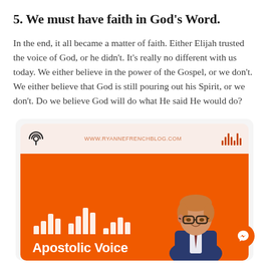5. We must have faith in God’s Word.
In the end, it all became a matter of faith. Either Elijah trusted the voice of God, or he didn’t. It’s really no different with us today. We either believe in the power of the Gospel, or we don’t. We either believe that God is still pouring out his Spirit, or we don’t. Do we believe God will do what He said He would do?
[Figure (screenshot): Podcast card for 'Apostolic Voice' podcast, with orange branding, equalizer bar graphic, a photo of a man with glasses, and the text 'Apostolic Voice' at the bottom. The card header shows a podcast antenna icon, the URL www.ryannefrenchblog.com, and a soundwave logo.]